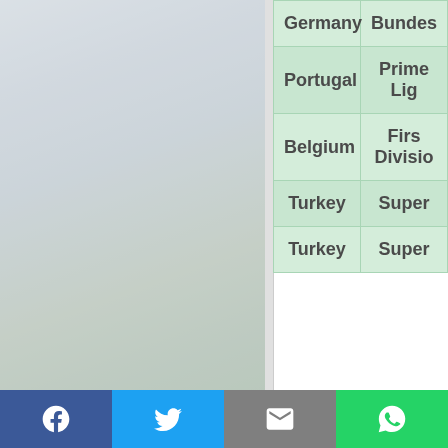[Figure (photo): Misty foggy outdoor landscape photo with trees and green field, heavily blurred/faded]
| Country | League |
| --- | --- |
| Germany | Bundes… |
| Portugal | Prime… Lig… |
| Belgium | Firs… Divisio… |
| Turkey | Super… |
| Turkey | Super… |
[Figure (infographic): Social media sharing bar with Facebook, Twitter, Email, and WhatsApp buttons]